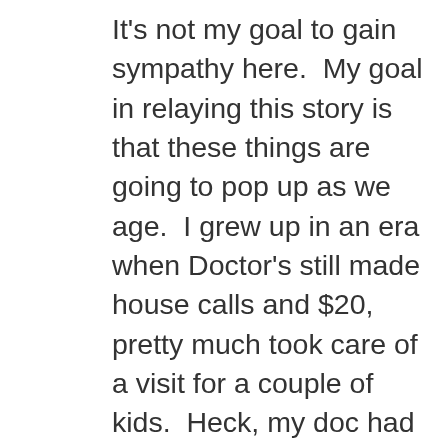It's not my goal to gain sympathy here.  My goal in relaying this story is that these things are going to pop up as we age.  I grew up in an era when Doctor's still made house calls and $20, pretty much took care of a visit for a couple of kids.  Heck, my doc had a lot of basic meds right in his office and filled some things right there in small paper envelopes.  People now have a much less personal relationship with their